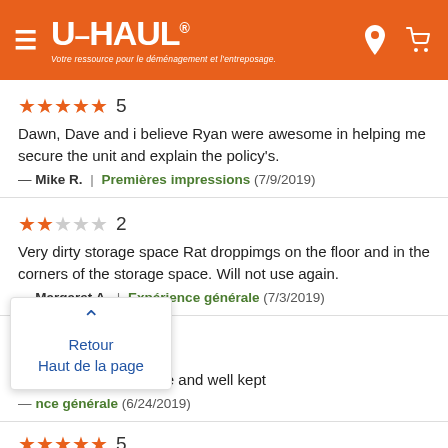U-HAUL — Votre ressource pour le déménagement et l'entreposage.
★★★★★ 5
Dawn, Dave and i believe Ryan were awesome in helping me secure the unit and explain the policy's.
— Mike R. | Premières impressions (7/9/2019)
★★☆☆☆ 2
Very dirty storage space Rat droppimgs on the floor and in the corners of the storage space. Will not use again.
— Margaret A. | Expérience générale (7/3/2019)
★★★★☆ 4
Was a great place, nice and well kept
— [name] | Expérience générale (6/24/2019)
Retour
Haut de la page
★★★★★ 5